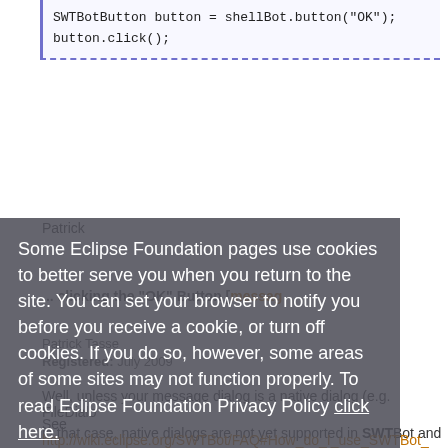SWTBotButton button = shellBot.button("OK");
button.click();
Patrick
... clicking the "OK" Button [messag
Patrick Tasse
Registered: July 2009
Some Eclipse Foundation pages use cookies to better serve you when you return to the site. You can set your browser to notify you before you receive a cookie, or turn off cookies. If you do so, however, some areas of some sites may not function properly. To read Eclipse Foundation Privacy Policy click here.
Well, unless your message dialog is a native dialog (e.g. FileDialo
in that case, native dialogs are not yet supported in SWTBot and
See http://wiki.eclipse.org/SWTBot/FAQ#How_do_I_use_SWTBot_